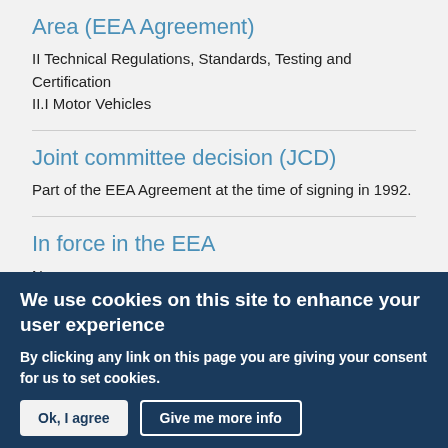Area (EEA Agreement)
II Technical Regulations, Standards, Testing and Certification
II.I Motor Vehicles
Joint committee decision (JCD)
Part of the EEA Agreement at the time of signing in 1992.
In force in the EEA
No
We use cookies on this site to enhance your user experience
By clicking any link on this page you are giving your consent for us to set cookies.